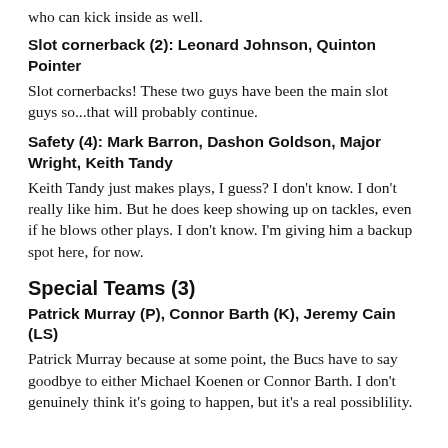who can kick inside as well.
Slot cornerback (2): Leonard Johnson, Quinton Pointer
Slot cornerbacks! These two guys have been the main slot guys so...that will probably continue.
Safety (4): Mark Barron, Dashon Goldson, Major Wright, Keith Tandy
Keith Tandy just makes plays, I guess? I don't know. I don't really like him. But he does keep showing up on tackles, even if he blows other plays. I don't know. I'm giving him a backup spot here, for now.
Special Teams (3)
Patrick Murray (P), Connor Barth (K), Jeremy Cain (LS)
Patrick Murray because at some point, the Bucs have to say goodbye to either Michael Koenen or Connor Barth. I don't genuinely think it's going to happen, but it's a real possiblility.